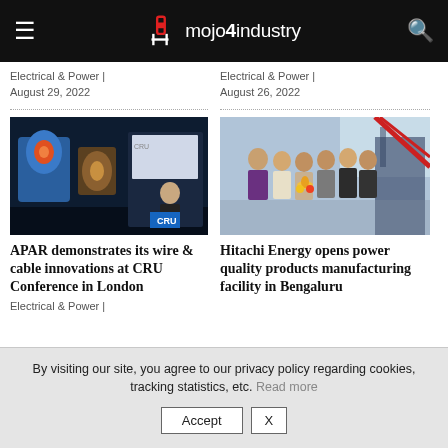mojo4industry
Electrical & Power | August 29, 2022
Electrical & Power | August 26, 2022
[Figure (photo): APAR wire and cable innovations display at CRU Conference with speaker at podium]
APAR demonstrates its wire & cable innovations at CRU Conference in London
Electrical & Power |
[Figure (photo): Hitachi Energy officials at the inauguration of power quality products manufacturing facility in Bengaluru, lighting a lamp]
Hitachi Energy opens power quality products manufacturing facility in Bengaluru
By visiting our site, you agree to our privacy policy regarding cookies, tracking statistics, etc. Read more